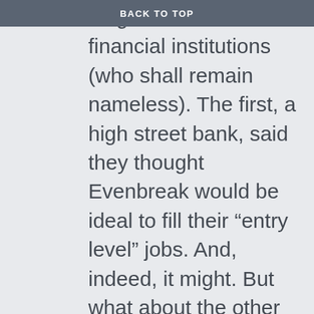BACK TO TOP
blog. Both were with financial institutions (who shall remain nameless). The first, a high street bank, said they thought Evenbreak would be ideal to fill their “entry level” jobs. And, indeed, it might. But what about the other jobs? I was told that other jobs would require qualifications and experience – the unspoken part of the sentence implying it was unlikely that any disabled people would have those. What would happen if the Governor of the Bank of England were to have a car accident this evening, and ended up using a wheelchair? Would he really only be suitable for an entry-level job from then on? 75% of disabled people acquired their disabilities as adults.